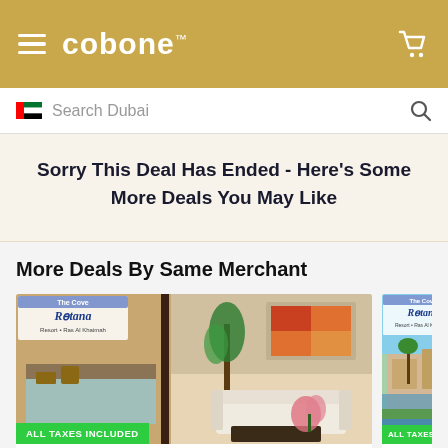cobone™ — navigation header with hamburger menu and cart icon
Search Dubai
Sorry This Deal Has Ended - Here's Some More Deals You May Like
More Deals By Same Merchant
[Figure (photo): The Cove Rotana Resort - Ras Al Khaimah hotel room with sofa, plants and art on wall. Green badge: ALL TAXES INCLUDED. 31 Bought.]
[Figure (photo): The Cove Rotana Resort - Ras Al Khaimah exterior view (partial). Green badge: ALL TAXES INCL. 531 Bought.]
31 Bought
531 Bough...
5* Villa With Pool St... The Cove Rota...
All In...